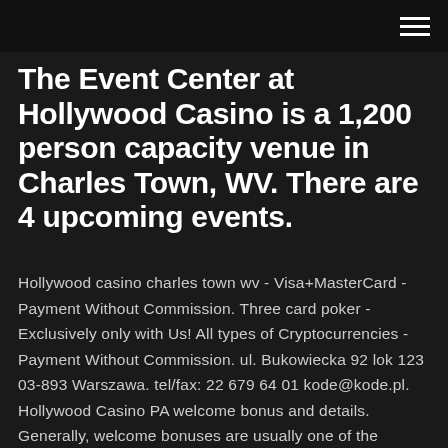[hamburger menu icon]
The Event Center at Hollywood Casino is a 1,200 person capacity venue in Charles Town, WV. There are 4 upcoming events.
Hollywood casino charles town wv - Visa+MasterCard - Payment Without Commission. Three card poker - Exclusively only with Us! All types of Cryptocurrencies - Payment Without Commission. ul. Bukowiecka 92 lok 123 03-893 Warszawa. tel/fax: 22 679 64 01 kode@kode.pl. Hollywood Casino PA welcome bonus and details. Generally, welcome bonuses are usually one of the following: Deposit match: a match of your first two deposits.; Free bonus money: a bonus money reward when you sign up, no deposit required.; Currently, Hollywood Casino is offering a two-part